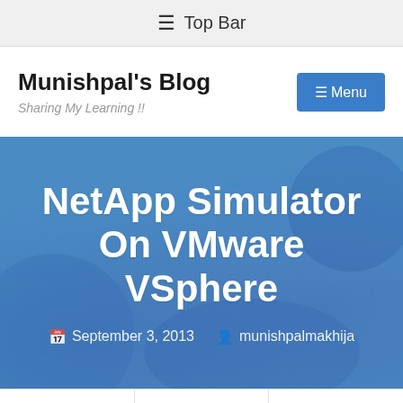☰ Top Bar
Munishpal's Blog
Sharing My Learning !!
[Figure (screenshot): Blue hero banner with title 'NetApp Simulator On VMware VSphere' and metadata showing date September 3, 2013 and author munishpalmakhija]